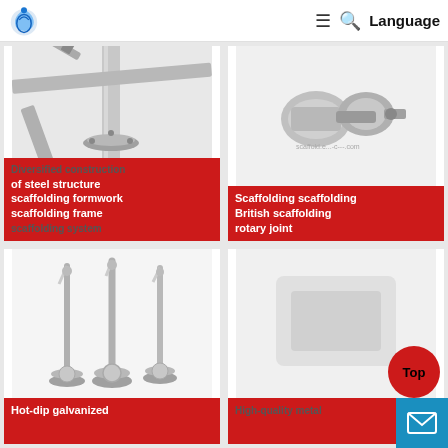Language
[Figure (photo): Scaffolding structure with a hammer and base plate connection, galvanized steel tubes]
Diversified construction of steel structure scaffolding formwork scaffolding frame scaffolding system
[Figure (photo): British scaffolding rotary joint / swivel coupler, galvanized metal clamp]
Scaffolding scaffolding British scaffolding rotary joint
[Figure (photo): Three hot-dip galvanized scaffolding bolts with base plates]
Hot-dip galvanized
[Figure (photo): High-quality metal scaffolding component (partially visible)]
High-quality metal